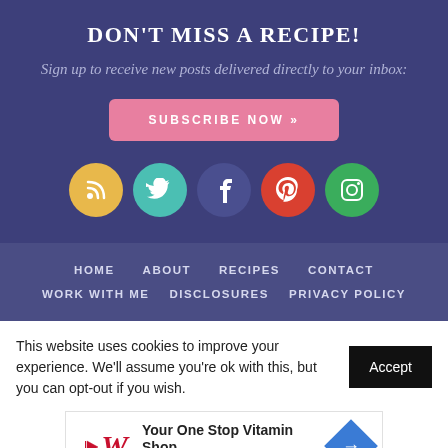DON'T MISS A RECIPE!
Sign up to receive new posts delivered directly to your inbox:
SUBSCRIBE NOW »
[Figure (infographic): Five social media icon circles: RSS (yellow), Twitter (teal), Facebook (dark purple), Pinterest (red), Instagram (green)]
HOME   ABOUT   RECIPES   CONTACT   WORK WITH ME   DISCLOSURES   PRIVACY POLICY
This website uses cookies to improve your experience. We'll assume you're ok with this, but you can opt-out if you wish.
Accept
[Figure (other): Walgreens advertisement: Your One Stop Vitamin Shop - Walgreens Photo, with Walgreens logo and blue diamond arrow icon]